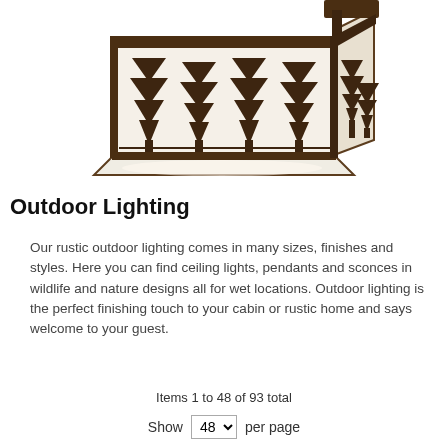[Figure (photo): Rustic outdoor ceiling light fixture with square bronze/brown metal frame featuring pine tree silhouette cutouts on frosted glass panels, viewed from below at an angle.]
Outdoor Lighting
Our rustic outdoor lighting comes in many sizes, finishes and styles. Here you can find ceiling lights, pendants and sconces in wildlife and nature designs all for wet locations. Outdoor lighting is the perfect finishing touch to your cabin or rustic home and says welcome to your guest.
Items 1 to 48 of 93 total
Show 48 per page